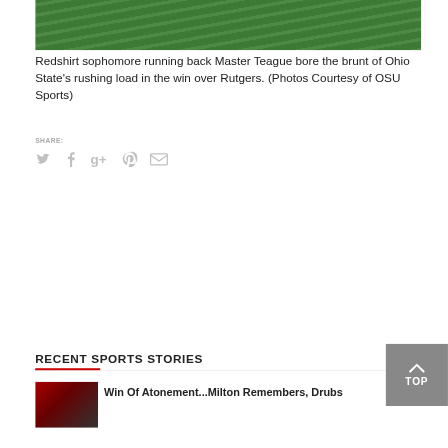[Figure (photo): Green grass field photo strip at top — partial view of a football field with a player, showing green turf and what appears to be a white uniform/shoe]
Redshirt sophomore running back Master Teague bore the brunt of Ohio State's rushing load in the win over Rutgers. (Photos Courtesy of OSU Sports)
SHARE:
RECENT SPORTS STORIES
Win Of Atonement...Milton Remembers, Drubs